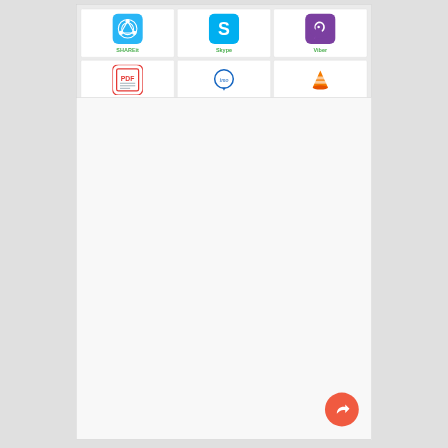[Figure (screenshot): App grid showing 6 app icons in 2 rows of 3: SHAREit, Skype, Viber, PDF Viewer, IMO, VLC Player]
[Figure (screenshot): Empty white content panel below the app grid with a red circular share/reply button in the bottom right corner]